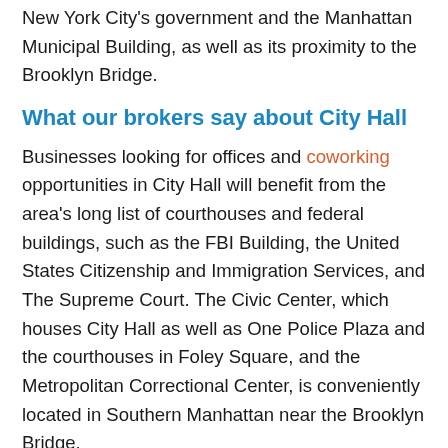New York City's government and the Manhattan Municipal Building, as well as its proximity to the Brooklyn Bridge.
What our brokers say about City Hall
Businesses looking for offices and coworking opportunities in City Hall will benefit from the area's long list of courthouses and federal buildings, such as the FBI Building, the United States Citizenship and Immigration Services, and The Supreme Court. The Civic Center, which houses City Hall as well as One Police Plaza and the courthouses in Foley Square, and the Metropolitan Correctional Center, is conveniently located in Southern Manhattan near the Brooklyn Bridge.
If you're looking for a good place to have a business event or lunch, check out Boucherie, Sagaponack Bar & Grill, Da Claudio, The Capital Grille or One if By Land Two If By Sea. City Hall Park offers a perfect location for an afternoon